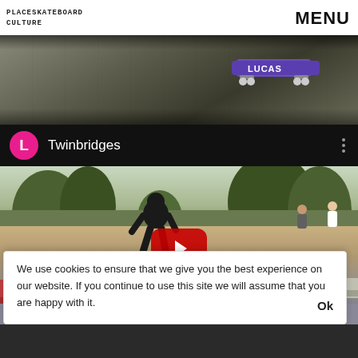PLACESKATEBOARD CULTURE  MENU
[Figure (photo): Top photo of a skateboard on pavement, with a Lucas-branded skateboard deck visible in the upper right area]
[Figure (screenshot): YouTube video embed showing a skatepark scene with a skater crouching near concrete obstacles, trees and park in background. Channel name: Twinbridges. Red YouTube play button centered on the video thumbnail.]
We use cookies to ensure that we give you the best experience on our website. If you continue to use this site we will assume that you are happy with it.  Ok